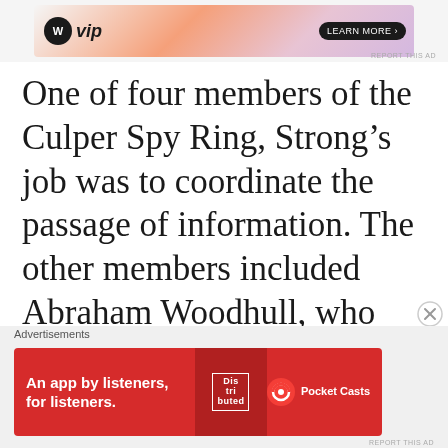[Figure (other): WordPress VIP advertisement banner at top of page]
One of four members of the Culper Spy Ring, Strong’s job was to coordinate the passage of information. The other members included Abraham Woodhull, who procured the intel; Caleb Brewster, who transported information off the island; and Benjamin Talmidge, the
Advertisements
[Figure (other): Pocket Casts advertisement banner: An app by listeners, for listeners.]